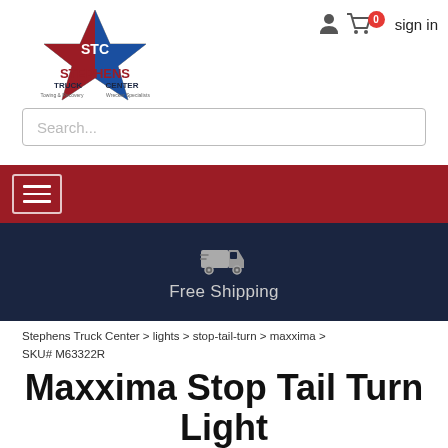[Figure (logo): Stephens Truck Center logo with STC star emblem, American flag colors, towing & recovery wrecker specialists]
sign in, cart with 0 items, user account icon
Search...
[Figure (other): Red navigation bar with hamburger menu icon]
[Figure (infographic): Navy blue shipping banner with truck icon and Free Shipping text]
Stephens Truck Center > lights > stop-tail-turn > maxxima > SKU# M63322R
Maxxima Stop Tail Turn Light